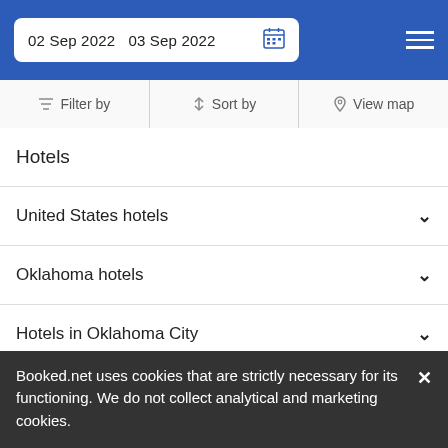02 Sep 2022  03 Sep 2022
Filter by  Sort by  View map
Hotels
United States hotels
Oklahoma hotels
Hotels in Oklahoma City
Hotels near Bricktown
DESTINATIONS
Booked.net uses cookies that are strictly necessary for its functioning. We do not collect analytical and marketing cookies.